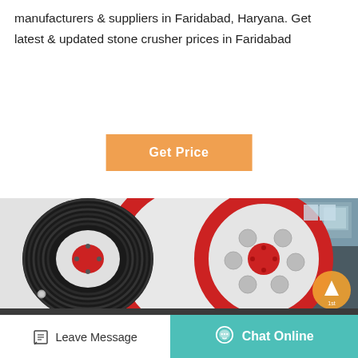manufacturers & suppliers in Faridabad, Haryana. Get latest & updated stone crusher prices in Faridabad
[Figure (other): Orange/amber 'Get Price' button on white background]
[Figure (photo): Close-up photo of a large industrial stone crusher flywheel with black belt grooves and red rim, inside a factory/industrial building]
Leave Message
Chat Online